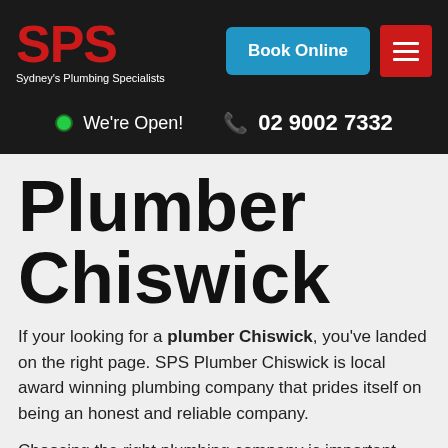SPS Sydney's Plumbing Specialists | Book Online | Menu
We're Open! | 02 9002 7332
Plumber Chiswick
If your looking for a plumber Chiswick, you've landed on the right page. SPS Plumber Chiswick is local award winning plumbing company that prides itself on being an honest and reliable company.
Choosing the right plumbing company is important